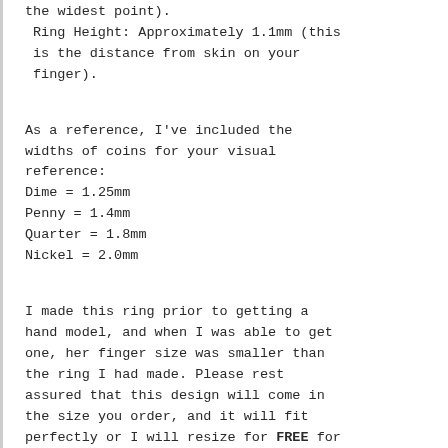the widest point).
 Ring Height: Approximately 1.1mm (this is the distance from skin on your finger).

As a reference, I've included the widths of coins for your visual reference:
Dime = 1.25mm
Penny = 1.4mm
Quarter = 1.8mm
Nickel = 2.0mm

I made this ring prior to getting a hand model, and when I was able to get one, her finger size was smaller than the ring I had made. Please rest assured that this design will come in the size you order, and it will fit perfectly or I will resize for FREE for you. 100% Guaranteed.